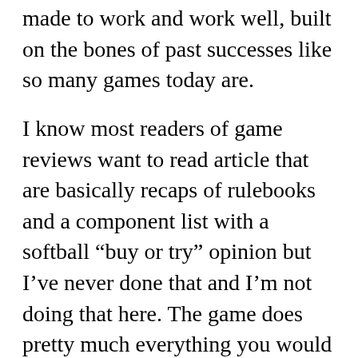made to work and work well, built on the bones of past successes like so many games today are.
I know most readers of game reviews want to read article that are basically recaps of rulebooks and a component list with a softball “buy or try” opinion but I’ve never done that and I’m not doing that here. The game does pretty much everything you would expect – or, indeed, want – to do in game based on the Dune books and upcoming film. It really covers a lot of narrative ground. You’ll scheme as the Harkonnens, conspire with the Bene Geserit, cut deals with the Spacing Guild, go to war in the Arakeen desert, and engage in pol[circle]machinations in the Landsraad. The economy is